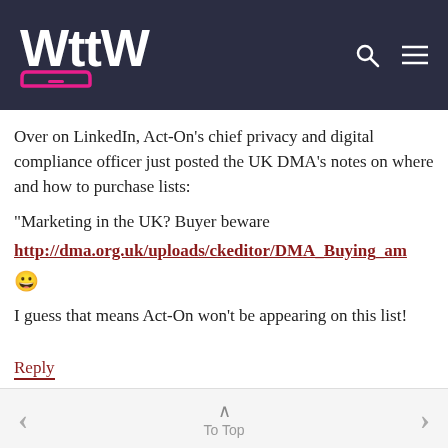WttW
Over on LinkedIn, Act-On's chief privacy and digital compliance officer just posted the UK DMA's notes on where and how to purchase lists: "Marketing in the UK? Buyer beware http://dma.org.uk/uploads/ckeditor/DMA_Buying_am 😀 I guess that means Act-On won't be appearing on this list!
Reply
< To Top >